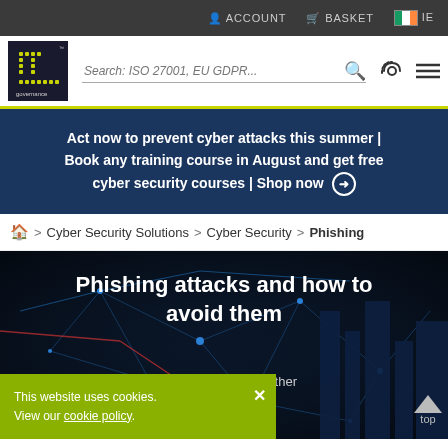ACCOUNT   BASKET   IE
[Figure (logo): IT Governance logo - green dot-matrix style letters on dark background]
Search: ISO 27001, EU GDPR...
Act now to prevent cyber attacks this summer | Book any training course in August and get free cyber security courses | Shop now →
🏠 > Cyber Security Solutions > Cyber Security > Phishing
Phishing attacks and how to avoid them
...icious emails and other phishing threats
This website uses cookies. View our cookie policy.